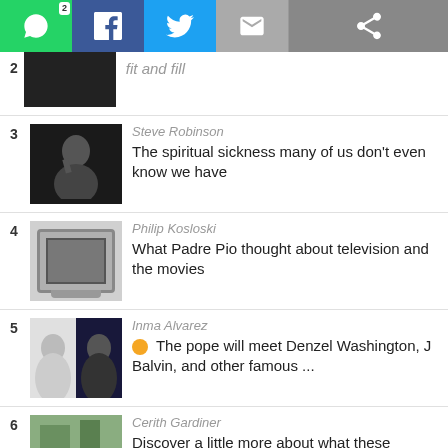[Figure (screenshot): Social sharing bar with WhatsApp (green), Facebook (blue), Twitter (light blue), Email (grey) buttons and a share icon on the right]
2 - (partial item) fit and fill
3 - Steve Robinson - The spiritual sickness many of us don't even know we have
4 - Philip Kosloski - What Padre Pio thought about television and the movies
5 - Inma Alvarez - The pope will meet Denzel Washington, J Balvin, and other famous ...
6 - Cerith Gardiner - Discover a little more about what these celebrities are doing at ...